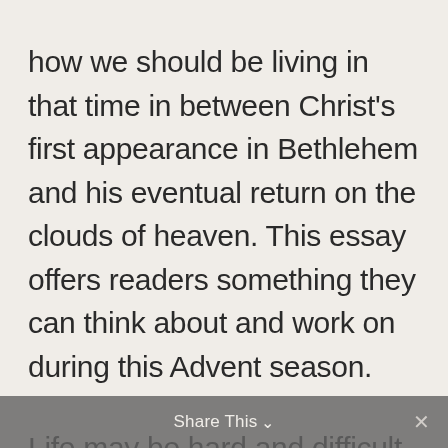how we should be living in that time in between Christ's first appearance in Bethlehem and his eventual return on the clouds of heaven. This essay offers readers something they can think about and work on during this Advent season.
Life may be hard and difficult at times. Things may not always be going your way. There might be moments when you feel like giving
Share This ∨  ✕